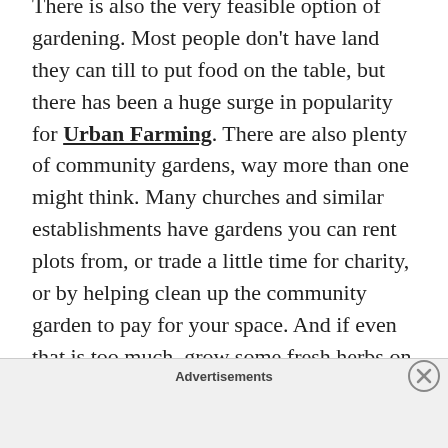There is also the very feasible option of gardening. Most people don't have land they can till to put food on the table, but there has been a huge surge in popularity for Urban Farming. There are also plenty of community gardens, way more than one might think. Many churches and similar establishments have gardens you can rent plots from, or trade a little time for charity, or by helping clean up the community garden to pay for your space. And if even that is too much, grow some fresh herbs on a balcony or a windowsill. Fresh herbs are, in my opinion, a chef's best arsenal. The right or
Advertisements